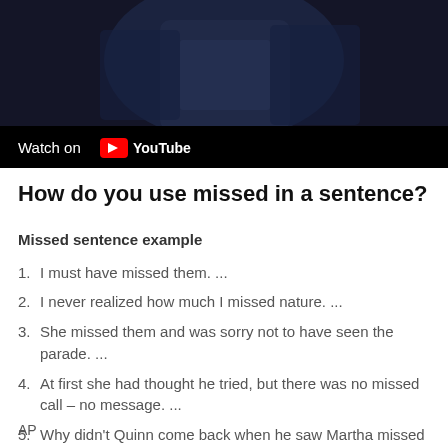[Figure (screenshot): YouTube video thumbnail showing a dark fantasy/armor scene with a 'Watch on YouTube' bar at the bottom]
How do you use missed in a sentence?
Missed sentence example
1. I must have missed them. ...
2. I never realized how much I missed nature. ...
3. She missed them and was sorry not to have seen the parade. ...
4. At first she had thought he tried, but there was no missed call – no message. ...
5. Why didn't Quinn come back when he saw Martha missed her connection?
AP